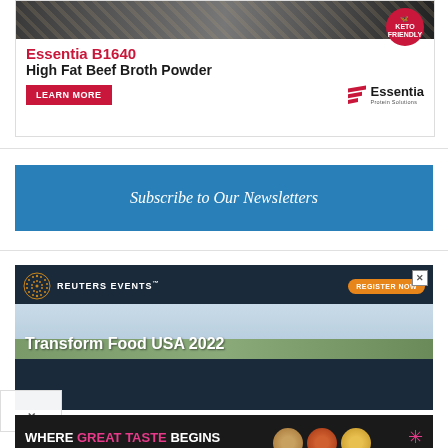[Figure (illustration): Essentia B1640 High Fat Beef Broth Powder advertisement. Red 'Keto Friendly' badge in top right. Red text 'Essentia B1640', black bold text 'High Fat Beef Broth Powder'. Red 'LEARN MORE' button and Essentia logo with tagline 'Protein Solutions'.]
Subscribe to Our Newsletters
[Figure (illustration): Reuters Events advertisement. Dark background with Reuters Events logo (dot pattern circle). Orange 'REGISTER NOW' button. Headline: 'Transform Food USA 2022' on a sky/landscape background. Close X button.]
[Figure (illustration): Wixon advertisement. Dark background. Text: 'WHERE GREAT TASTE BEGINS / From ideation to market'. Wixon logo with star. Food bowl images on right.]